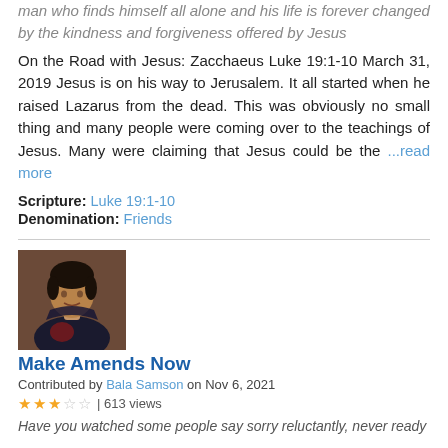man who finds himself all alone and his life is forever changed by the kindness and forgiveness offered by Jesus
On the Road with Jesus: Zacchaeus Luke 19:1-10 March 31, 2019 Jesus is on his way to Jerusalem. It all started when he raised Lazarus from the dead. This was obviously no small thing and many people were coming over to the teachings of Jesus. Many were claiming that Jesus could be the ...read more
Scripture: Luke 19:1-10
Denomination: Friends
[Figure (photo): Portrait photo of Bala Samson, a woman in a dark outfit]
Make Amends Now
Contributed by Bala Samson on Nov 6, 2021
★★★☆☆ | 613 views
Have you watched some people say sorry reluctantly, never ready